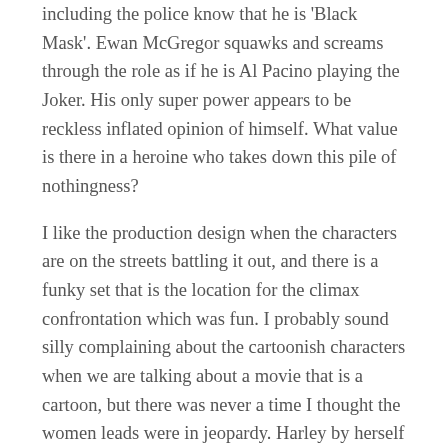including the police know that he is 'Black Mask'. Ewan McGregor squawks and screams through the role as if he is Al Pacino playing the Joker. His only super power appears to be reckless inflated opinion of himself. What value is there in a heroine who takes down this pile of nothingness?
I like the production design when the characters are on the streets battling it out, and there is a funky set that is the location for the climax confrontation which was fun. I probably sound silly complaining about the cartoonish characters when we are talking about a movie that is a cartoon, but there was never a time I thought the women leads were in jeopardy. Harley by herself repeatedly takes out squads of hulking henchmen, so why would we worry about the outcome when she has four backup players to fight a